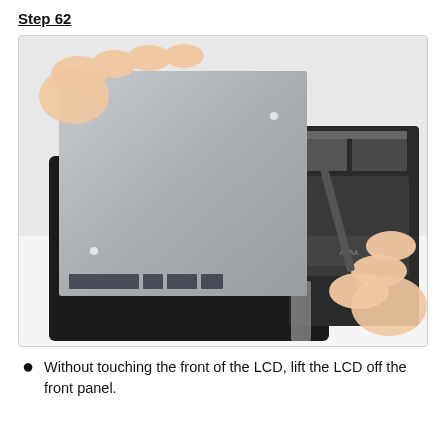Step 62
[Figure (photo): Hands lifting an LCD panel away from the front panel/chassis of a tablet device. The LCD is a large gray rectangular panel being separated from the black tablet body. The right side shows the internal components of the tablet including the battery and circuit board area. Stickers/labels are visible on the bottom of the LCD panel.]
Without touching the front of the LCD, lift the LCD off the front panel.